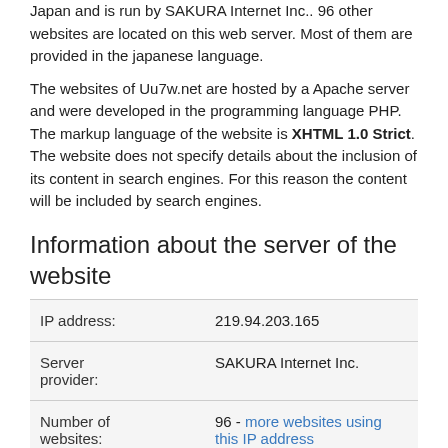Japan and is run by SAKURA Internet Inc.. 96 other websites are located on this web server. Most of them are provided in the japanese language.
The websites of Uu7w.net are hosted by a Apache server and were developed in the programming language PHP. The markup language of the website is XHTML 1.0 Strict. The website does not specify details about the inclusion of its content in search engines. For this reason the content will be included by search engines.
Information about the server of the website
|  |  |
| --- | --- |
| IP address: | 219.94.203.165 |
| Server provider: | SAKURA Internet Inc. |
| Number of websites: | 96 - more websites using this IP address |
| Best-known websites: | Joshbeckettfoundation.org (little known), Somed2013.org (little known), Bahamaslot.com (little known) |
| Language | 40% of the websites are japanese |